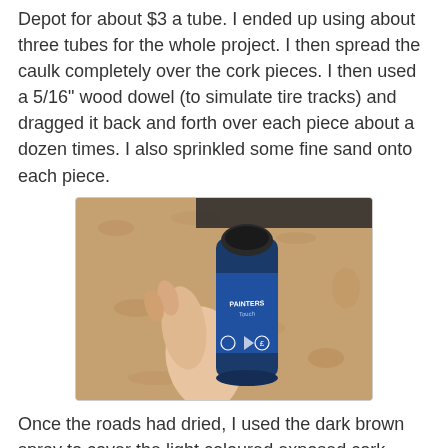Depot for about $3 a tube. I ended up using about three tubes for the whole project. I then spread the caulk completely over the cork pieces. I then used a 5/16" wood dowel (to simulate tire tracks) and dragged it back and forth over each piece about a dozen times. I also sprinkled some fine sand onto each piece.
[Figure (photo): A hand holding a dark blue spray paint can labeled 'Painters Touch' against a cork board background]
Once the roads had dried, I used the dark brown spray to cover the light coloured exposed cork sides and ends. I also gave the road surface a good dusting.
[Figure (photo): Partial view of a room with storage bins, bottom of image only]